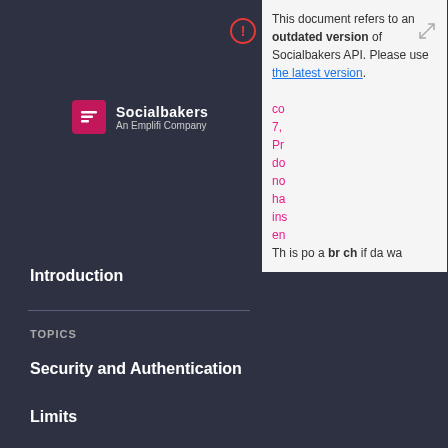[Figure (logo): Socialbakers An Emplifi Company logo with pink icon]
This document refers to an outdated version of Socialbakers API. Please use the latest version.
Introduction
TOPICS
Security and Authentication
Limits